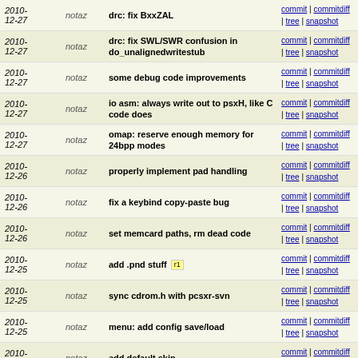| Date | Author | Message | Links |
| --- | --- | --- | --- |
| 2010-12-27 | notaz | drc: fix BxxZAL | commit | commitdiff | tree | snapshot |
| 2010-12-27 | notaz | drc: fix SWL/SWR confusion in do_unalignedwritestub | commit | commitdiff | tree | snapshot |
| 2010-12-27 | notaz | some debug code improvements | commit | commitdiff | tree | snapshot |
| 2010-12-27 | notaz | io asm: always write out to psxH, like C code does | commit | commitdiff | tree | snapshot |
| 2010-12-27 | notaz | omap: reserve enough memory for 24bpp modes | commit | commitdiff | tree | snapshot |
| 2010-12-26 | notaz | properly implement pad handling | commit | commitdiff | tree | snapshot |
| 2010-12-26 | notaz | fix a keybind copy-paste bug | commit | commitdiff | tree | snapshot |
| 2010-12-26 | notaz | set memcard paths, rm dead code | commit | commitdiff | tree | snapshot |
| 2010-12-25 | notaz | add .pnd stuff [r1] | commit | commitdiff | tree | snapshot |
| 2010-12-25 | notaz | sync cdrom.h with pcsxr-svn | commit | commitdiff | tree | snapshot |
| 2010-12-25 | notaz | menu: add config save/load | commit | commitdiff | tree | snapshot |
| 2010-12-25 | notaz | add default skin | commit | commitdiff | tree | snapshot |
| 2010-12-25 | notaz | menu: add most options | commit | commitdiff | tree | snapshot |